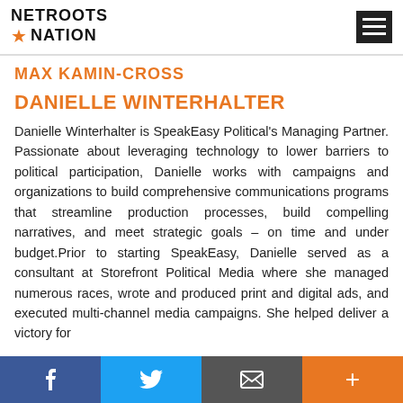NETROOTS NATION
MAX KAMIN-CROSS
DANIELLE WINTERHALTER
Danielle Winterhalter is SpeakEasy Political's Managing Partner. Passionate about leveraging technology to lower barriers to political participation, Danielle works with campaigns and organizations to build comprehensive communications programs that streamline production processes, build compelling narratives, and meet strategic goals – on time and under budget.Prior to starting SpeakEasy, Danielle served as a consultant at Storefront Political Media where she managed numerous races, wrote and produced print and digital ads, and executed multi-channel media campaigns. She helped deliver a victory for
Facebook | Twitter | Email | +